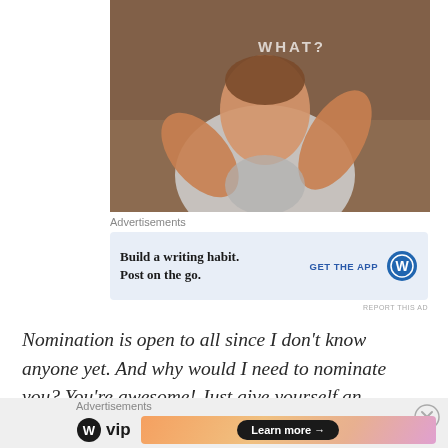[Figure (photo): A young child making a shrugging gesture with both hands raised, wearing a white outfit. The word 'WHAT?' is overlaid in white text on the image. Sepia/brown toned photo.]
Advertisements
[Figure (screenshot): Advertisement banner with light blue background. Text reads 'Build a writing habit. Post on the go.' with a 'GET THE APP' button and WordPress logo on the right.]
REPORT THIS AD
Nomination is open to all since I don't know anyone yet. And why would I need to nominate you? You're awesome! Just give yourself an award!
Advertisements
[Figure (screenshot): Advertisement banner showing WordPress VIP logo on the left and a 'Learn more →' button on an orange/gradient background on the right.]